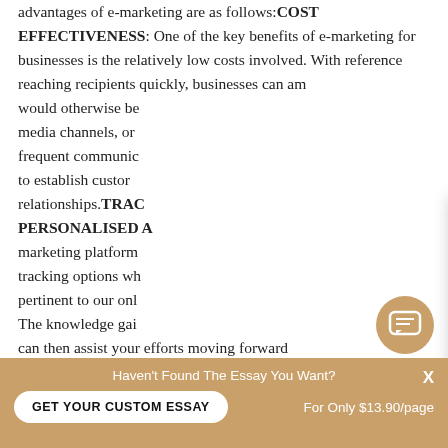advantages of e-marketing are as follows:COST EFFECTIVENESS: One of the key benefits of e-marketing for businesses is the relatively low costs involved. With reference reaching recipients quickly, businesses can am... would otherwise be... media channels, or... frequent communic... to establish custor... relationships.TRAC... PERSONALISED A... marketing platform... tracking options wh... pertinent to our onl... The knowledge gai... can then assist your efforts moving forward and allow us to make better and more
[Figure (screenshot): Chat popup overlay with avatar photo of a young man, tan/brown background header saying 'Hi! I'm Piter!', white body with text 'Would you like to get a custom essay? How about receiving a customized one?' and bold underlined link 'Check it out'. Close X button in top right.]
[Figure (other): Circular chat message icon button in tan/gold color, bottom right of page.]
Haven't Found The Essay You Want?
GET YOUR CUSTOM ESSAY
For Only $13.90/page